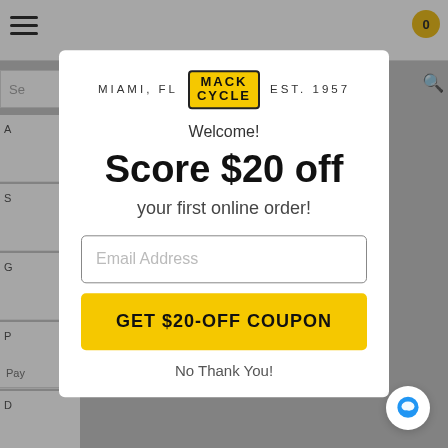[Figure (screenshot): Background of a website (Mack Cycle) with navigation elements, rows, and search bar, dimmed behind modal overlay]
MIAMI, FL MACK CYCLE EST. 1957
Welcome!
Score $20 off
your first online order!
Email Address
GET $20-OFF COUPON
No Thank You!